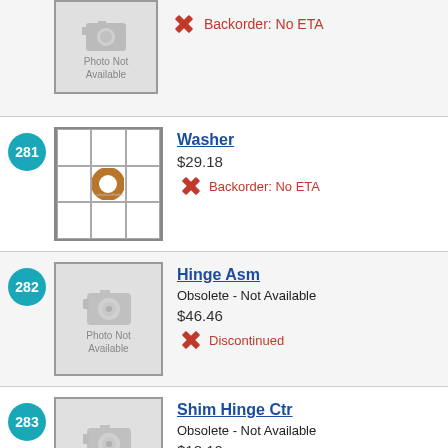[Figure (photo): Top partial row: photo not available placeholder for unnamed part, with Backorder: No ETA status]
Backorder: No ETA
[Figure (photo): Part 281 - Washer product image showing a grid of washer photos]
281
Washer
$29.18
Backorder: No ETA
[Figure (photo): Part 282 - Photo Not Available placeholder]
282
Hinge Asm
Obsolete - Not Available
$46.46
Discontinued
[Figure (photo): Part 283 - Photo Not Available placeholder]
283
Shim Hinge Ctr
Obsolete - Not Available
$18.10
Discontinued